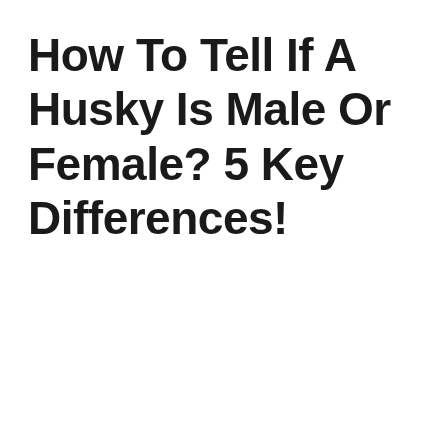How To Tell If A Husky Is Male Or Female? 5 Key Differences!